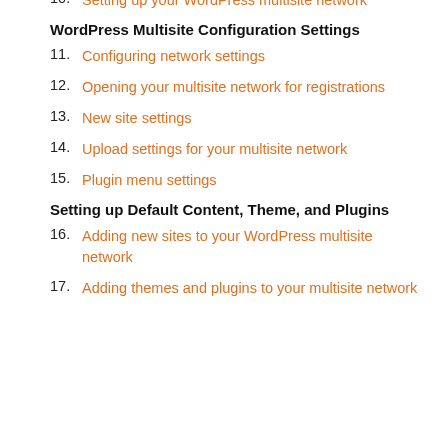10. Setting up your WordPress multisite network
WordPress Multisite Configuration Settings
11. Configuring network settings
12. Opening your multisite network for registrations
13. New site settings
14. Upload settings for your multisite network
15. Plugin menu settings
Setting up Default Content, Theme, and Plugins
16. Adding new sites to your WordPress multisite network
17. Adding themes and plugins to your multisite network